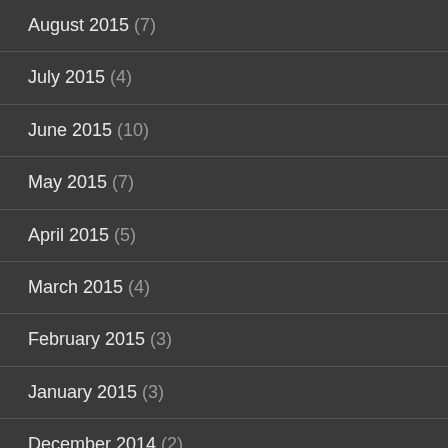August 2015 (7)
July 2015 (4)
June 2015 (10)
May 2015 (7)
April 2015 (5)
March 2015 (4)
February 2015 (3)
January 2015 (3)
December 2014 (2)